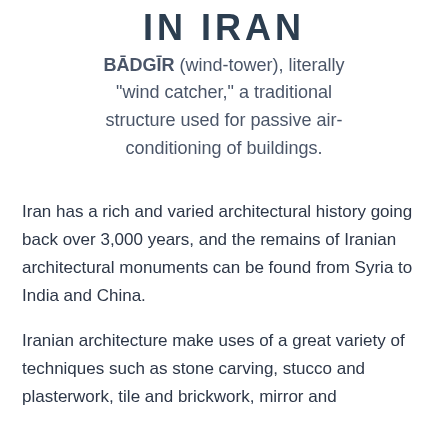IN IRAN
BĀDGĪR (wind-tower), literally “wind catcher,” a traditional structure used for passive air-conditioning of buildings.
Iran has a rich and varied architectural history going back over 3,000 years, and the remains of Iranian architectural monuments can be found from Syria to India and China.
Iranian architecture make uses of a great variety of techniques such as stone carving, stucco and plasterwork, tile and brickwork, mirror and...